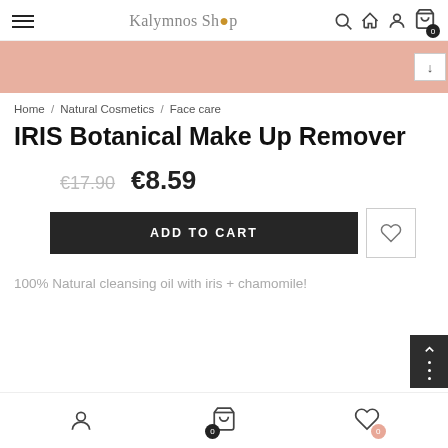Kalymnos Shop
[Figure (photo): Product image strip with salmon/peach background color, partial view of product]
Home / Natural Cosmetics / Face care
IRIS Botanical Make Up Remover
€17.90  €8.59
ADD TO CART
100% Natural cleansing oil with iris + chamomile!